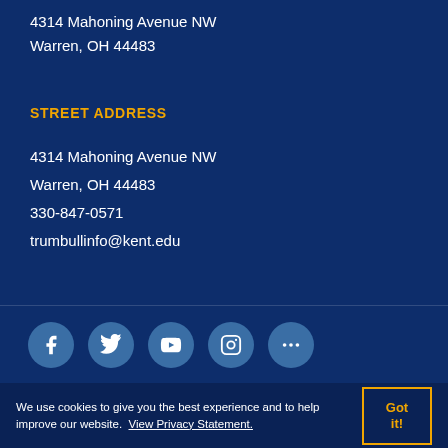4314 Mahoning Avenue NW
Warren, OH 44483
STREET ADDRESS
4314 Mahoning Avenue NW
Warren, OH 44483
330-847-0571
trumbullinfo@kent.edu
[Figure (infographic): Row of five circular social media icons (Facebook, Twitter, YouTube, Instagram, and a more/ellipsis icon) on dark blue background]
We use cookies to give you the best experience and to help improve our website. View Privacy Statement.